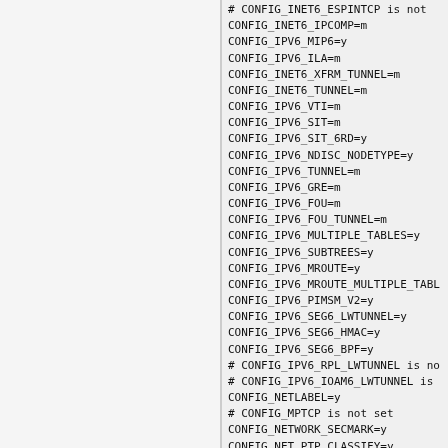# CONFIG_INET6_ESPINTCP is not set
CONFIG_INET6_IPCOMP=m
CONFIG_IPV6_MIP6=y
CONFIG_IPV6_ILA=m
CONFIG_INET6_XFRM_TUNNEL=m
CONFIG_INET6_TUNNEL=m
CONFIG_IPV6_VTI=m
CONFIG_IPV6_SIT=m
CONFIG_IPV6_SIT_6RD=y
CONFIG_IPV6_NDISC_NODETYPE=y
CONFIG_IPV6_TUNNEL=m
CONFIG_IPV6_GRE=m
CONFIG_IPV6_FOU=m
CONFIG_IPV6_FOU_TUNNEL=m
CONFIG_IPV6_MULTIPLE_TABLES=y
CONFIG_IPV6_SUBTREES=y
CONFIG_IPV6_MROUTE=y
CONFIG_IPV6_MROUTE_MULTIPLE_TABL
CONFIG_IPV6_PIMSM_V2=y
CONFIG_IPV6_SEG6_LWTUNNEL=y
CONFIG_IPV6_SEG6_HMAC=y
CONFIG_IPV6_SEG6_BPF=y
# CONFIG_IPV6_RPL_LWTUNNEL is no
# CONFIG_IPV6_IOAM6_LWTUNNEL is
CONFIG_NETLABEL=y
# CONFIG_MPTCP is not set
CONFIG_NETWORK_SECMARK=y
CONFIG_NET_PTP_CLASSIFY=y
# CONFIG_NETWORK_PHY_TIMESTAMPIN
CONFIG_NETFILTER=y
CONFIG_NETFILTER_ADVANCED=y
CONFIG_BRIDGE_NETFILTER=m